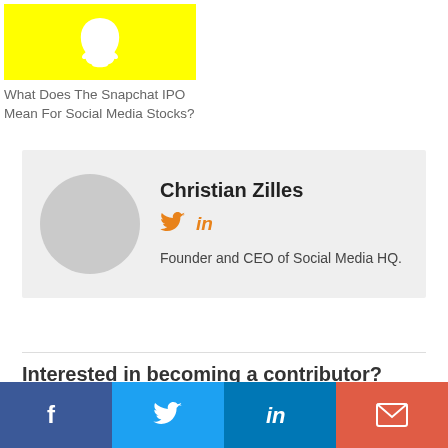[Figure (photo): Snapchat ghost logo on yellow background]
What Does The Snapchat IPO Mean For Social Media Stocks?
Christian Zilles
Founder and CEO of Social Media HQ.
Interested in becoming a contributor? Learn
[Figure (infographic): Social share bar with Facebook, Twitter, LinkedIn, and Email buttons]